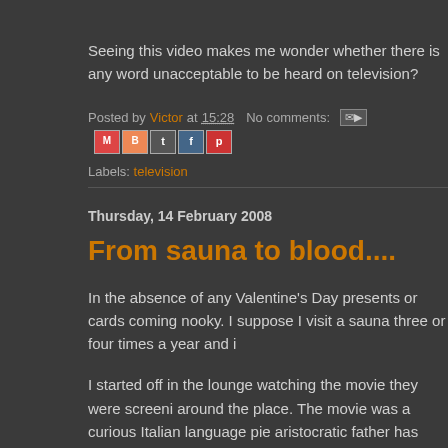Seeing this video makes me wonder whether there is any word unacceptable to be heard on television?
Posted by Victor at 15:28   No comments:
Labels: television
Thursday, 14 February 2008
From sauna to blood....
In the absence of any Valentine's Day presents or cards coming nooky. I suppose I visit a sauna three or four times a year and i
I started off in the lounge watching the movie they were screeni around the place. The movie was a curious Italian language pie aristocratic father has passed away. The older brother has com has learned for the first time that he is a gay porn star. I watche beginning or the end of it. It was B grade nonsense without any
I wasn't too bothered to see it through to the end and when I'd s stopping to take in bits of the porn videos and eyeing one of the encounter. He seemed interested without making any moves o